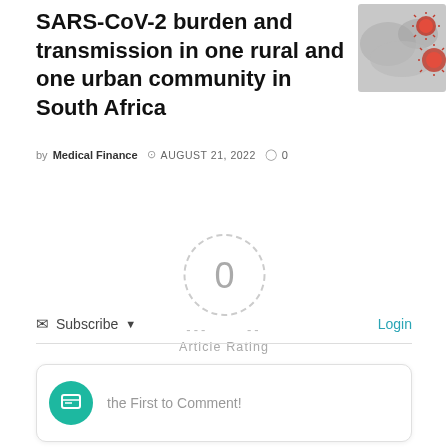SARS-CoV-2 burden and transmission in one rural and one urban community in South Africa
[Figure (photo): Microscope image of coronavirus particles, red/pink colored on grey background]
by Medical Finance  AUGUST 21, 2022  0
[Figure (infographic): Article rating widget: dashed circle with 0 rating, dashes on each side, 'Article Rating' label, and 5 empty grey stars below]
Subscribe  Login
the First to Comment!